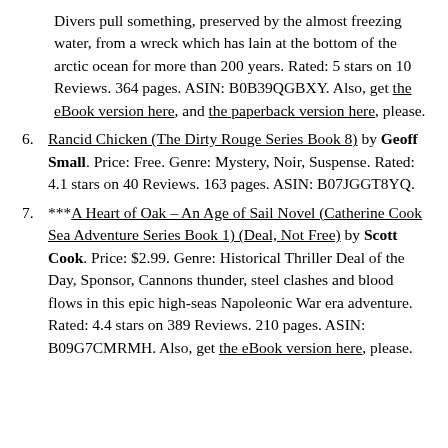Divers pull something, preserved by the almost freezing water, from a wreck which has lain at the bottom of the arctic ocean for more than 200 years. Rated: 5 stars on 10 Reviews. 364 pages. ASIN: B0B39QGBXY. Also, get the eBook version here, and the paperback version here, please.
6. Rancid Chicken (The Dirty Rouge Series Book 8) by Geoff Small. Price: Free. Genre: Mystery, Noir, Suspense. Rated: 4.1 stars on 40 Reviews. 163 pages. ASIN: B07JGGT8YQ.
7. ***A Heart of Oak – An Age of Sail Novel (Catherine Cook Sea Adventure Series Book 1) (Deal, Not Free) by Scott Cook. Price: $2.99. Genre: Historical Thriller Deal of the Day, Sponsor, Cannons thunder, steel clashes and blood flows in this epic high-seas Napoleonic War era adventure. Rated: 4.4 stars on 389 Reviews. 210 pages. ASIN: B09G7CMRMH. Also, get the eBook version here, please.